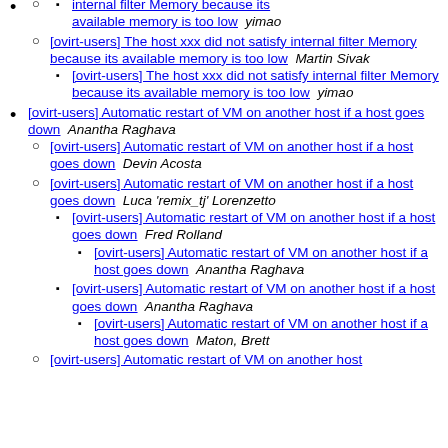[ovirt-users] The host xxx did not satisfy internal filter Memory because its available memory is too low  yimao
[ovirt-users] The host xxx did not satisfy internal filter Memory because its available memory is too low  Martin Sivak
[ovirt-users] The host xxx did not satisfy internal filter Memory because its available memory is too low  yimao
[ovirt-users] Automatic restart of VM on another host if a host goes down  Anantha Raghava
[ovirt-users] Automatic restart of VM on another host if a host goes down  Devin Acosta
[ovirt-users] Automatic restart of VM on another host if a host goes down  Luca 'remix_tj' Lorenzetto
[ovirt-users] Automatic restart of VM on another host if a host goes down  Fred Rolland
[ovirt-users] Automatic restart of VM on another host if a host goes down  Anantha Raghava
[ovirt-users] Automatic restart of VM on another host if a host goes down  Anantha Raghava
[ovirt-users] Automatic restart of VM on another host if a host goes down  Maton, Brett
[ovirt-users] Automatic restart of VM on another host